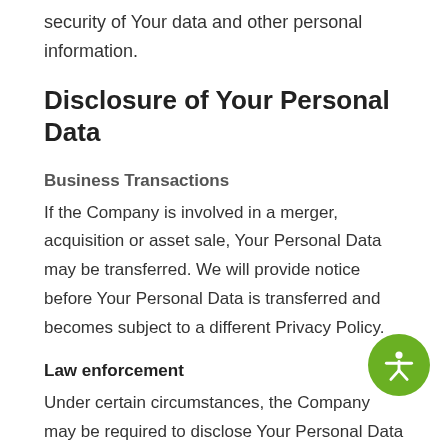security of Your data and other personal information.
Disclosure of Your Personal Data
Business Transactions
If the Company is involved in a merger, acquisition or asset sale, Your Personal Data may be transferred. We will provide notice before Your Personal Data is transferred and becomes subject to a different Privacy Policy.
Law enforcement
Under certain circumstances, the Company may be required to disclose Your Personal Data if required to do so by law or in